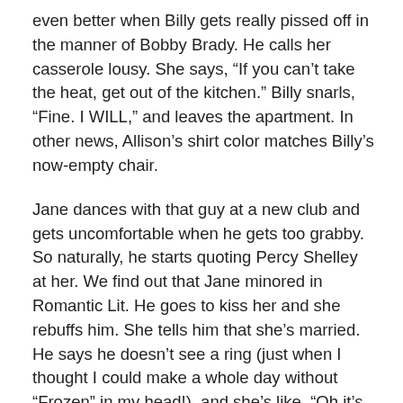even better when Billy gets really pissed off in the manner of Bobby Brady. He calls her casserole lousy. She says, “If you can’t take the heat, get out of the kitchen.” Billy snarls, “Fine. I WILL,” and leaves the apartment. In other news, Allison’s shirt color matches Billy’s now-empty chair.
Jane dances with that guy at a new club and gets uncomfortable when he gets too grabby. So naturally, he starts quoting Percy Shelley at her. We find out that Jane minored in Romantic Lit. He goes to kiss her and she rebuffs him. She tells him that she’s married. He says he doesn’t see a ring (just when I thought I could make a whole day without “Frozen” in my head!), and she’s like, “Oh it’s right here in my jacket pocket that’s casually flung over the couch,” until she realizes it’s gone 😨 Just like Kelly Taylor does in the future, only with Brandon’s